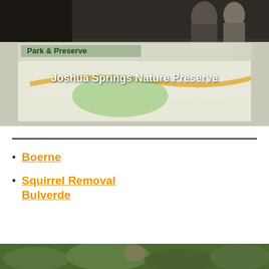[Figure (photo): Photo of Joshua Springs Nature Preserve park map sign with people visible in the background, overlaid with white bold text reading 'Joshua Springs Nature Preserve']
Boerne
Squirrel Removal Bulverde
[Figure (photo): Partial photo at bottom of page showing green foliage/nature scene]